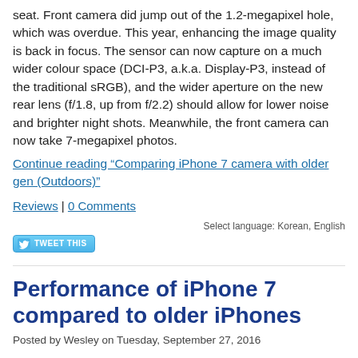seat. Front camera did jump out of the 1.2-megapixel hole, which was overdue. This year, enhancing the image quality is back in focus. The sensor can now capture on a much wider colour space (DCI-P3, a.k.a. Display-P3, instead of the traditional sRGB), and the wider aperture on the new rear lens (f/1.8, up from f/2.2) should allow for lower noise and brighter night shots. Meanwhile, the front camera can now take 7-megapixel photos.
Continue reading "Comparing iPhone 7 camera with older gen (Outdoors)"
Reviews | 0 Comments
Select language: Korean, English
[Figure (other): Tweet This button with Twitter bird icon]
Performance of iPhone 7 compared to older iPhones
Posted by Wesley on Tuesday, September 27, 2016